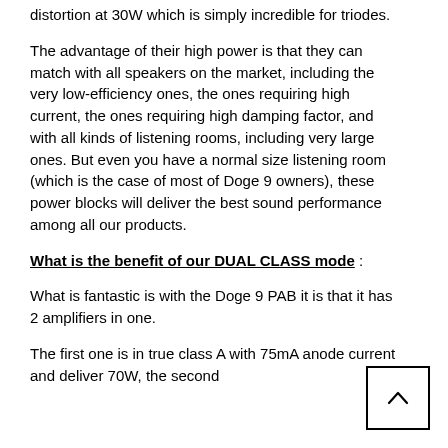distortion at 30W which is simply incredible for triodes.
The advantage of their high power is that they can match with all speakers on the market, including the very low-efficiency ones, the ones requiring high current, the ones requiring high damping factor, and with all kinds of listening rooms, including very large ones. But even you have a normal size listening room (which is the case of most of Doge 9 owners), these power blocks will deliver the best sound performance among all our products.
What is the benefit of our DUAL CLASS mode :
What is fantastic is with the Doge 9 PAB it is that it has 2 amplifiers in one.
The first one is in true class A with 75mA anode current and deliver 70W, the second